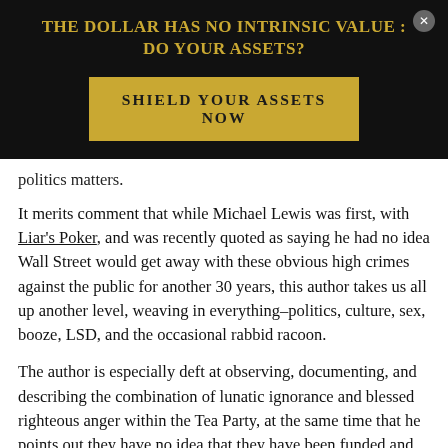THE DOLLAR HAS NO INTRINSIC VALUE : DO YOUR ASSETS?
SHIELD YOUR ASSETS NOW
politics matters.
It merits comment that while Michael Lewis was first, with Liar's Poker, and was recently quoted as saying he had no idea Wall Street would get away with these obvious high crimes against the public for another 30 years, this author takes us all up another level, weaving in everything–politics, culture, sex, booze, LSD, and the occasional rabbid racoon.
The author is especially deft at observing, documenting, and describing the combination of lunatic ignorance and blessed righteous anger within the Tea Party, at the same time that he points out they have no idea that they have been funded and directed by the very people who have stolen their economy out from under them.